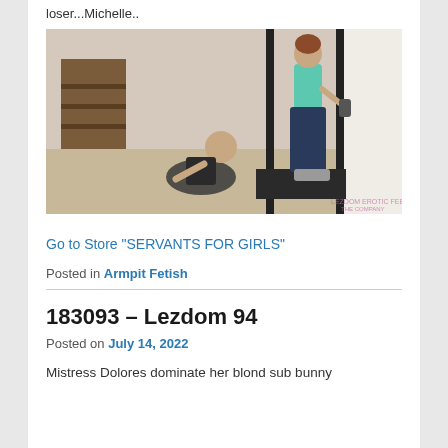loser...Michelle..
[Figure (photo): Two women in an indoor setting; one woman in black lingerie kneeling on the floor, another standing in a teal crop top and dark pants near a doorway.]
Go to Store “SERVANTS FOR GIRLS”
Posted in Armpit Fetish
183093 – Lezdom 94
Posted on July 14, 2022
Mistress Dolores dominate her blond sub bunny